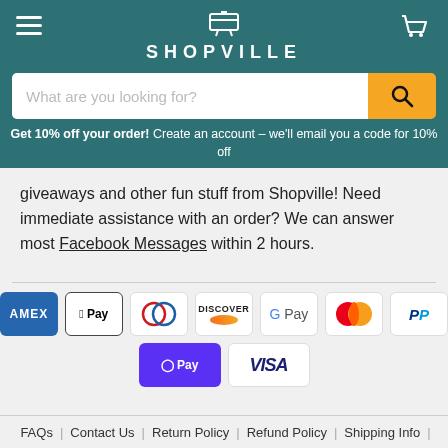SHOPVILLE
What are you looking for?
Get 10% off your order! Create an account – we'll email you a code for 10% off
giveaways and other fun stuff from Shopville! Need immediate assistance with an order? We can answer most Facebook Messages within 2 hours.
[Figure (logo): Payment method icons: American Express, Apple Pay, Diners Club, Discover, Google Pay, Mastercard, PayPal, Shop Pay, Visa]
FAQs | Contact Us | Return Policy | Refund Policy | Shipping Info |